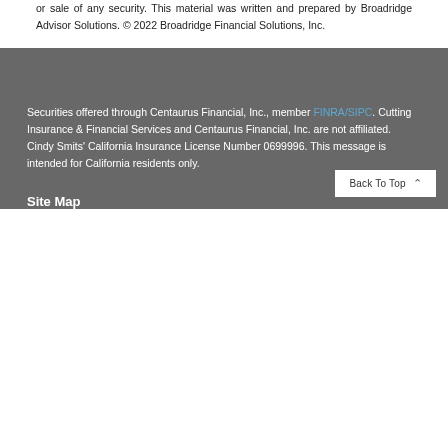or sale of any security. This material was written and prepared by Broadridge Advisor Solutions. © 2022 Broadridge Financial Solutions, Inc.
Securities offered through Centaurus Financial, Inc., member FINRA/SIPC. Cutting Insurance & Financial Services and Centaurus Financial, Inc. are not affiliated. Cindy Smits' California Insurance License Number 0699996. This message is intended for California residents only.
Site Map
Back To Top